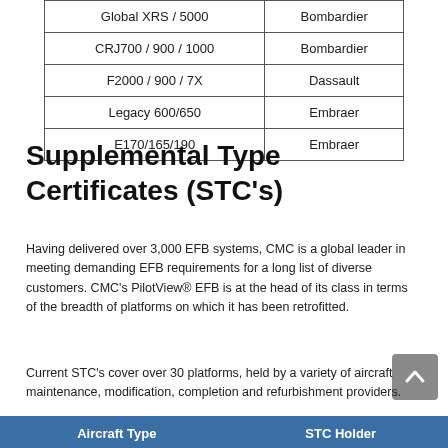| Aircraft Type | Manufacturer |
| --- | --- |
| Global XRS / 5000 | Bombardier |
| CRJ700 / 900 / 1000 | Bombardier |
| F2000 / 900 / 7X | Dassault |
| Legacy 600/650 | Embraer |
| E170/165/190 | Embraer |
Supplemental Type Certificates (STC's)
Having delivered over 3,000 EFB systems, CMC is a global leader in meeting demanding EFB requirements for a long list of diverse customers. CMC's PilotView® EFB is at the head of its class in terms of the breadth of platforms on which it has been retrofitted.
Current STC's cover over 30 platforms, held by a variety of aircraft maintenance, modification, completion and refurbishment providers.
| Aircraft Type | STC Holder |
| --- | --- |